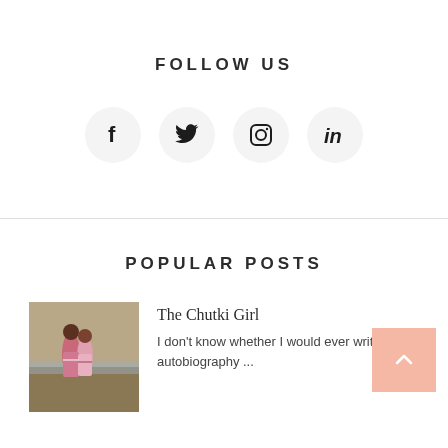FOLLOW US
[Figure (infographic): Four social media icon circles: Facebook (f), Twitter (bird), Instagram (camera), LinkedIn (in)]
POPULAR POSTS
[Figure (photo): Two children hugging outdoors near water]
The Chutki Girl
I don't know whether I would ever write an autobiography ...